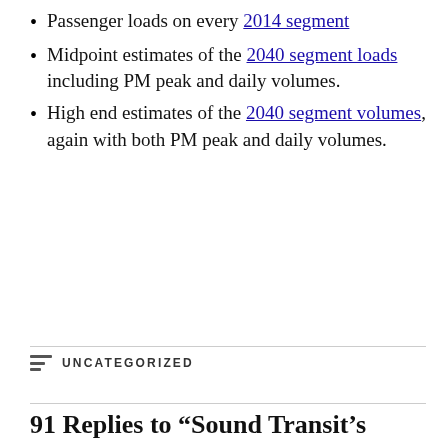Passenger loads on every 2014 segment
Midpoint estimates of the 2040 segment loads including PM peak and daily volumes.
High end estimates of the 2040 segment volumes, again with both PM peak and daily volumes.
UNCATEGORIZED
91 Replies to “Sound Transit’s station ridership in 2040”